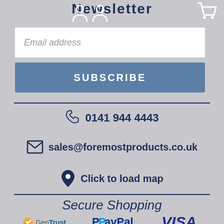Newsletter
Email address
SUBSCRIBE
0141 944 4443
sales@foremostproducts.co.uk
Click to load map
Secure Shopping
[Figure (logo): GeoTrust security logo]
[Figure (logo): PayPal payment logo]
[Figure (logo): VISA payment logo]